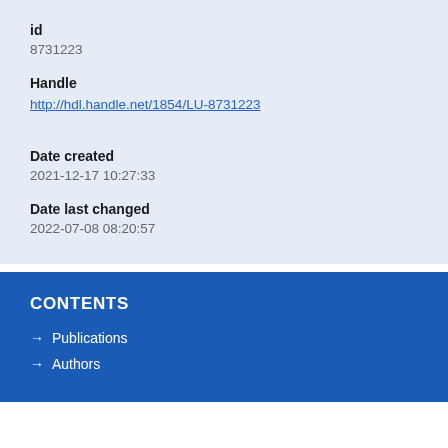id
8731223
Handle
http://hdl.handle.net/1854/LU-8731223
Date created
2021-12-17 10:27:33
Date last changed
2022-07-08 08:20:57
CONTENTS
→ Publications
→ Authors